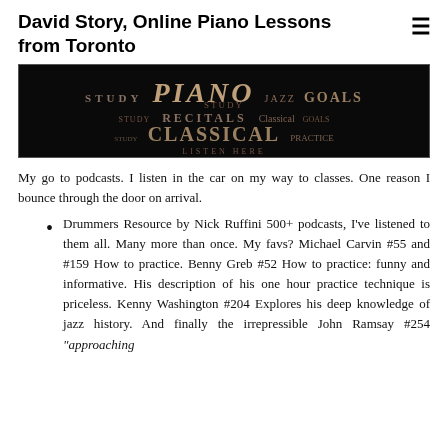David Story, Online Piano Lessons from Toronto
[Figure (other): Dark background banner image with word cloud including words: STUDY, PIANO, JAZZ, GOALS, RECITALS, CLASSICAL, PRACTICE, LISTEN HERE in various sizes and gold/brown colors]
My go to podcasts. I listen in the car on my way to classes. One reason I bounce through the door on arrival.
Drummers Resource by Nick Ruffini 500+ podcasts, I've listened to them all. Many more than once. My favs? Michael Carvin #55 and #159 How to practice. Benny Greb #52 How to practice: funny and informative. His description of his one hour practice technique is priceless. Kenny Washington #204 Explores his deep knowledge of jazz history. And finally the irrepressible John Ramsay #254 “approaching